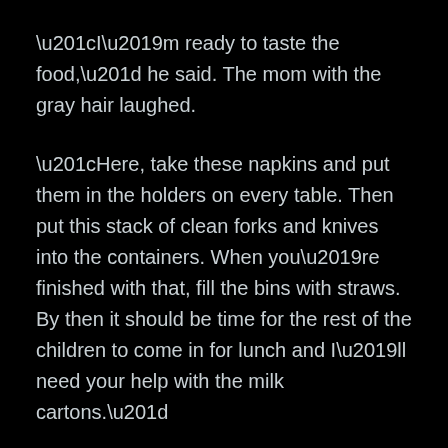“I’m ready to taste the food,” he said. The mom with the gray hair laughed.
“Here, take these napkins and put them in the holders on every table. Then put this stack of clean forks and knives into the containers. When you’re finished with that, fill the bins with straws. By then it should be time for the rest of the children to come in for lunch and I’ll need your help with the milk cartons.”
When he saw the big trays filled with pizzas sitting on the counter his mouth began to water.